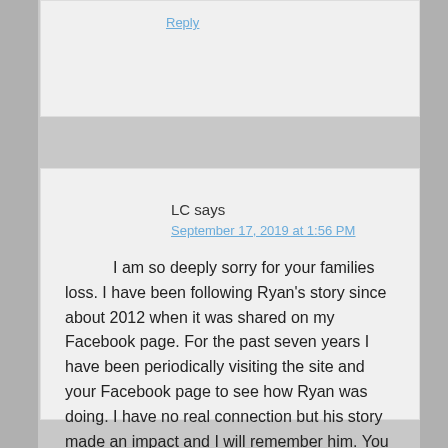Reply
LC says
September 17, 2019 at 1:56 PM
I am so deeply sorry for your families loss. I have been following Ryan's story since about 2012 when it was shared on my Facebook page. For the past seven years I have been periodically visiting the site and your Facebook page to see how Ryan was doing. I have no real connection but his story made an impact and I will remember him. You are in my prayers
Reply